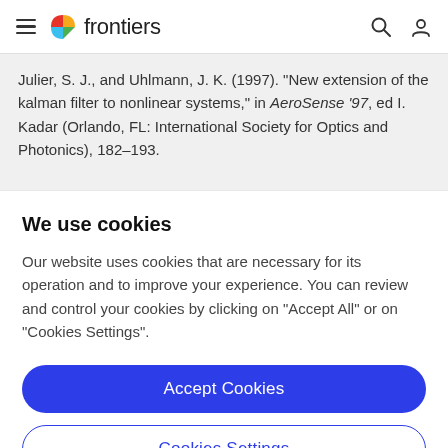frontiers
Julier, S. J., and Uhlmann, J. K. (1997). "New extension of the kalman filter to nonlinear systems," in AeroSense '97, ed I. Kadar (Orlando, FL: International Society for Optics and Photonics), 182–193.

Kalman, R. E. (1960). A new approach to linear filtering and
We use cookies
Our website uses cookies that are necessary for its operation and to improve your experience. You can review and control your cookies by clicking on "Accept All" or on "Cookies Settings".
Accept Cookies
Cookies Settings